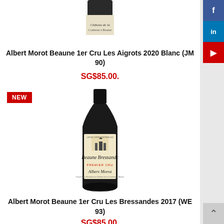[Figure (photo): Partial view of a wine bottle top (Albert Morot) cropped at the top of the page]
Albert Morot Beaune 1er Cru Les Aigrots 2020 Blanc (JM 90)
SG$85.00.
[Figure (photo): Wine bottle with cream label reading 'Beaune Bressandes Premier Cru Albert Morot', dark green bottle with black capsule]
Albert Morot Beaune 1er Cru Les Bressandes 2017 (WE 93)
SG$85.00.